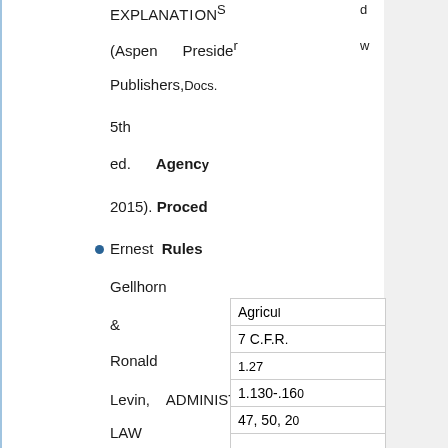EXPLANATIONS (Aspen Publishers, 5th ed. Agency Proced 2015).
Ernest Rules Gellhorn & Ronald Levin, ADMINISTRATIVE LAW AND PROCESS IN A NUTSHELL
Agricul 7 C.F.R 1.27 1.130-.160 47, 50, 20
Archite